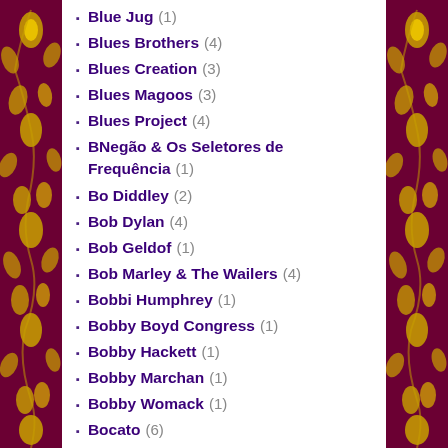Blue Jug (1)
Blues Brothers (4)
Blues Creation (3)
Blues Magoos (3)
Blues Project (4)
BNegão & Os Seletores de Frequência (1)
Bo Diddley (2)
Bob Dylan (4)
Bob Geldof (1)
Bob Marley & The Wailers (4)
Bobbi Humphrey (1)
Bobby Boyd Congress (1)
Bobby Hackett (1)
Bobby Marchan (1)
Bobby Womack (1)
Bocato (6)
Bolder Damn (1)
Bombay Groovy (1)
Bonzo Dog Doo-Dah Band (2)
Boogaloo Joe Jones (1)
Booker T. & The MG's (2)
Boomerang (1)